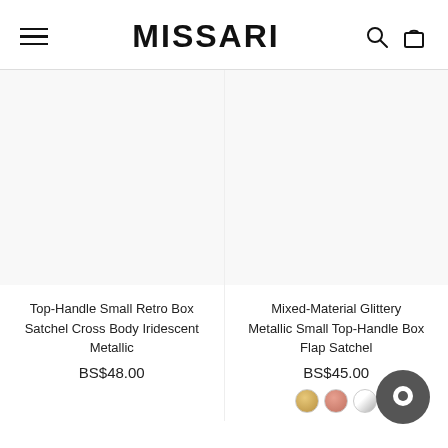MISSARI
Top-Handle Small Retro Box Satchel Cross Body Iridescent Metallic
BS$48.00
Mixed-Material Glittery Metallic Small Top-Handle Box Flap Satchel
BS$45.00